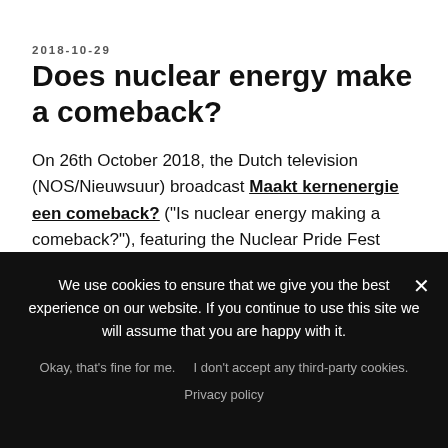2018-10-29
Does nuclear energy make a comeback?
On 26th October 2018, the Dutch television (NOS/Nieuwsuur) broadcast “Maakt kernenergie een comeback?” (“Is nuclear energy making a comeback?”), featuring the Nuclear Pride Fest (and more). Below, we have translated the Dutch video into English.
[Figure (photo): Photo of a building exterior with colorful balloons (yellow, orange, green) visible in front of it, and purple/pink flowering shrubs. Cookie consent overlay appears over the bottom portion.]
We use cookies to ensure that we give you the best experience on our website. If you continue to use this site we will assume that you are happy with it.
Okay, that’s fine for me.   I don’t accept any third-party cookies.
Privacy policy